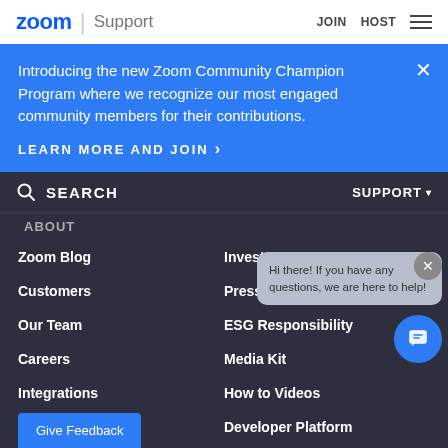zoom | Support   JOIN   HOST
Introducing the new Zoom Community Champion Program where we recognize our most engaged community members for their contributions.
LEARN MORE AND JOIN >
SEARCH   SUPPORT
ABOUT
Zoom Blog
Investors
Customers
Press
Our Team
ESG Responsibility
Careers
Media Kit
Integrations
How to Videos
Partners
Developer Platform
Hi there! If you have any questions, we are here to help!
Give Feedback